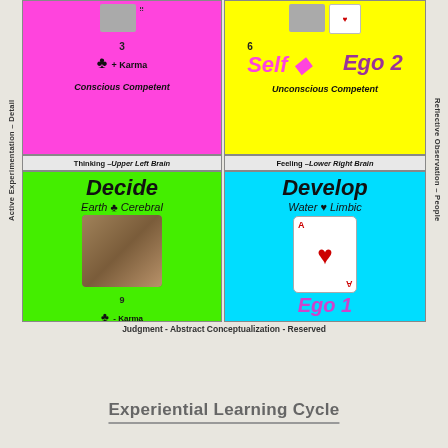[Figure (infographic): 2x2 grid diagram showing Experiential Learning Cycle quadrants: Top-left magenta (Conscious Competent, Thinking Upper Left Brain, 3 clubs + Karma), Top-right yellow (Unconscious Competent, Feeling Lower Right Brain, Self diamond Ego 2, 6), Bottom-left lime (Unconscious Incompetent, Decide, Earth clubs Cerebral, 9 clubs -Karma, photo of man), Bottom-right cyan (Conscious Incompetent, Develop, Water hearts Limbic, Ego 1, playing card Ace of hearts). Left axis: Active Experimentation - Detail. Right axis: Reflective Observation - People. Bottom axis: Judgment - Abstract Conceptualization - Reserved.]
Experiential Learning Cycle